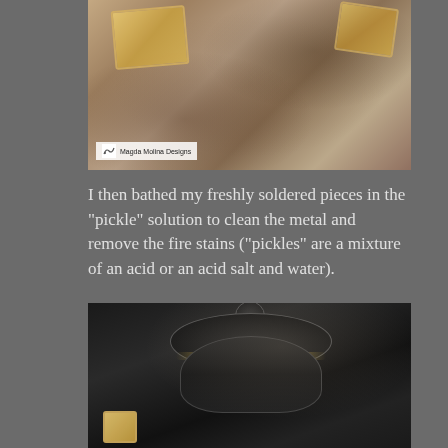[Figure (photo): Close-up photo of metal jewelry pieces (gold-toned rectangular pendants) resting on a rough stone or concrete surface with pinkish-beige tones. A watermark reads 'Magda Molina Designs' with a small logo in the lower left.]
I then bathed my freshly soldered pieces in the "pickle" solution to clean the metal and remove the fire stains ("pickles" are a mixture of an acid or an acid salt and water).
[Figure (photo): Photo of a dark/black crockpot or slow cooker used for the pickle solution, with the lid on and a small knob on top. A gold jewelry piece is visible in the lower left foreground.]